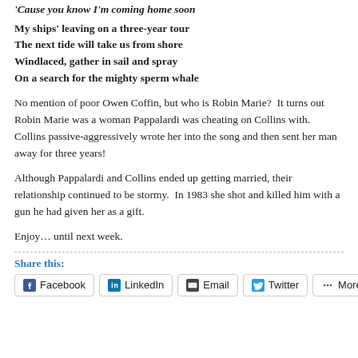'Cause you know I'm coming home soon
My ships' leaving on a three-year tour
The next tide will take us from shore
Windlaced, gather in sail and spray
On a search for the mighty sperm whale
No mention of poor Owen Coffin, but who is Robin Marie?  It turns out Robin Marie was a woman Pappalardi was cheating on Collins with.  Collins passive-aggressively wrote her into the song and then sent her man away for three years!
Although Pappalardi and Collins ended up getting married, their relationship continued to be stormy.  In 1983 she shot and killed him with a gun he had given her as a gift.
Enjoy… until next week.
Share this:
Facebook  LinkedIn  Email  Twitter  More